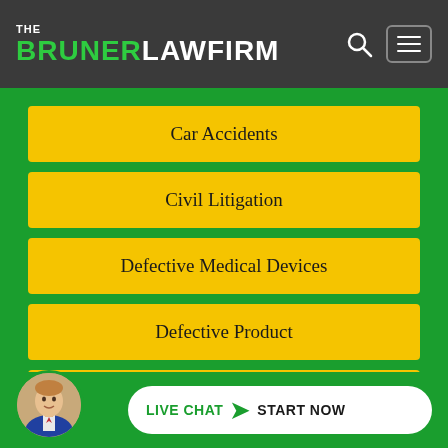[Figure (logo): The Bruner Law Firm logo with green 'BRUNER', white 'LAW FIRM' text on dark background, with search icon and hamburger menu]
Car Accidents
Civil Litigation
Defective Medical Devices
Defective Product
Miscellaneous
Motorcycle Accidents (partially visible)
[Figure (photo): Live Chat Start Now button with attorney avatar photo on green background]